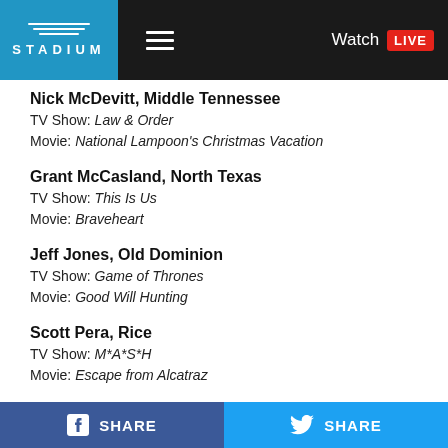[Figure (screenshot): Stadium app header with logo, hamburger menu, and Watch LIVE button]
Nick McDevitt, Middle Tennessee
TV Show: Law & Order
Movie: National Lampoon's Christmas Vacation
Grant McCasland, North Texas
TV Show: This Is Us
Movie: Braveheart
Jeff Jones, Old Dominion
TV Show: Game of Thrones
Movie: Good Will Hunting
Scott Pera, Rice
TV Show: M*A*S*H
Movie: Escape from Alcatraz
Jay Ladner, Southern Miss
TV Show: Sanford and Son
SHARE  SHARE